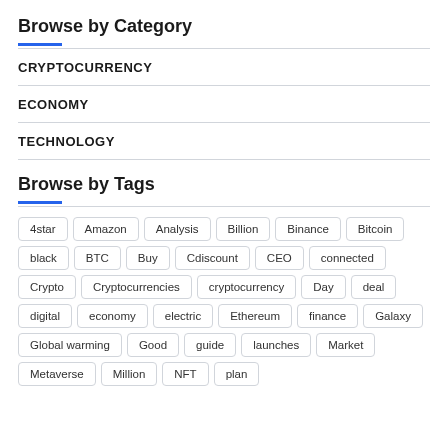Browse by Category
CRYPTOCURRENCY
ECONOMY
TECHNOLOGY
Browse by Tags
4star
Amazon
Analysis
Billion
Binance
Bitcoin
black
BTC
Buy
Cdiscount
CEO
connected
Crypto
Cryptocurrencies
cryptocurrency
Day
deal
digital
economy
electric
Ethereum
finance
Galaxy
Global warming
Good
guide
launches
Market
Metaverse
Million
NFT
plan